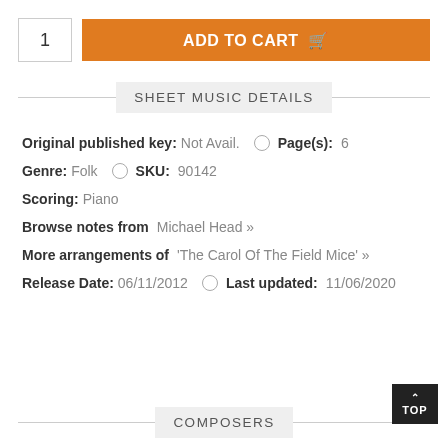1  ADD TO CART
SHEET MUSIC DETAILS
Original published key: Not Avail.   Page(s): 6
Genre: Folk   SKU: 90142
Scoring: Piano
Browse notes from Michael Head »
More arrangements of 'The Carol Of The Field Mice' »
Release Date: 06/11/2012   Last updated: 11/06/2020
COMPOSERS